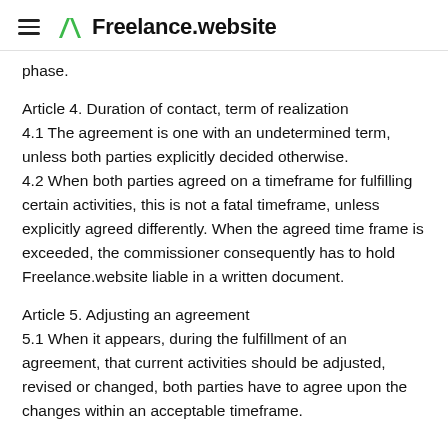Freelance.website
phase.
Article 4. Duration of contact, term of realization
4.1 The agreement is one with an undetermined term, unless both parties explicitly decided otherwise.
4.2 When both parties agreed on a timeframe for fulfilling certain activities, this is not a fatal timeframe, unless explicitly agreed differently. When the agreed time frame is exceeded, the commissioner consequently has to hold Freelance.website liable in a written document.
Article 5. Adjusting an agreement
5.1 When it appears, during the fulfillment of an agreement, that current activities should be adjusted, revised or changed, both parties have to agree upon the changes within an acceptable timeframe.